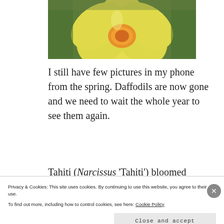[Figure (photo): Close-up photograph of a yellow daffodil flower (Narcissus Tahiti) with an orange center, against a green grass background.]
I still have few pictures in my phone from the spring. Daffodils are now gone and we need to wait the whole year to see them again.
Tahiti (Narcissus 'Tahiti') bloomed beautifully in May and managed to
Privacy & Cookies: This site uses cookies. By continuing to use this website, you agree to their use.
To find out more, including how to control cookies, see here: Cookie Policy
Close and accept